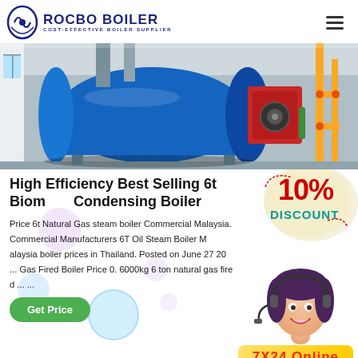ROCBO BOILER — COST-EFFECTIVE BOILER SUPPLIER
[Figure (photo): Industrial gas-fired boiler system in a factory setting, showing large cylindrical blue boiler with red burner unit and yellow gas pipes.]
High Efficiency Best Selling 6t Biomass Condensing Boiler
Price 6t Natural Gas steam boiler Commercial Malaysia. Commercial Manufacturers 6T Oil Steam Boiler Malaysia boiler prices in Thailand. Posted on June 27 20... Gas Fired Boiler Price 0. 6000kg 6 ton natural gas fire... ...
[Figure (photo): 10% DISCOUNT promotional badge overlay graphic in red and teal colors on cream background.]
[Figure (photo): Customer service agent woman with headset smiling, used as online support graphic. Partially obscured on right side.]
Get Price
7X24 Online